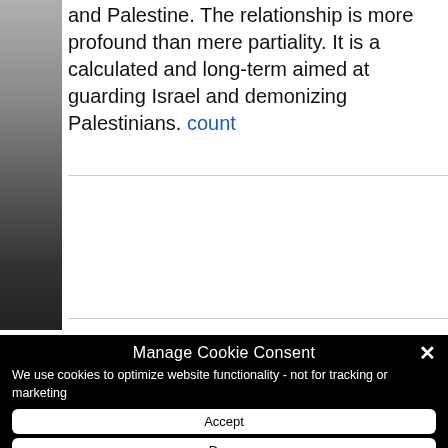and Palestine. The relationship is more profound than mere partiality. It is a calculated and long-term aimed at guarding Israel and demonizing Palestinians. count
[Figure (photo): Black and white photo on the left side of the article, partially visible]
Manage Cookie Consent
We use cookies to optimize website functionality - not for tracking or marketing
Accept
Deny
Preferences